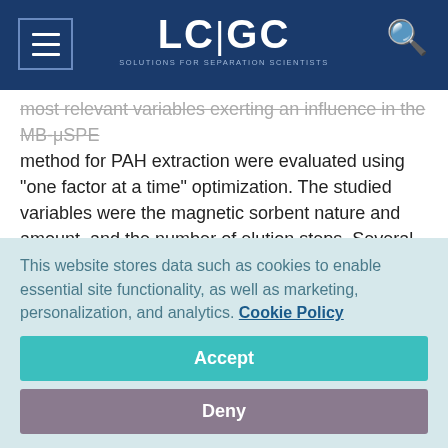LC|GC — Solutions for Separation Scientists
most relevant variables exerting an influence in the MB-μSPE method for PAH extraction were evaluated using "one factor at a time" optimization. The studied variables were the magnetic sorbent nature and amount, and the number of elution steps. Several other variables were fixed in the entire optimization to follow common microextraction strategies or to ensure adequate sensitivity: 10 mL for the water sample volume, 5 μg/L for the spiked PAHs concentration (a high level to ensure their detection despite nonoptimum
This website stores data such as cookies to enable essential site functionality, as well as marketing, personalization, and analytics. Cookie Policy
Accept
Deny